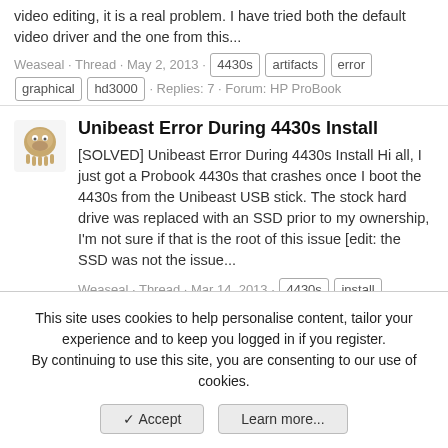video editing, it is a real problem. I have tried both the default video driver and the one from this...
Weaseal · Thread · May 2, 2013 · 4430s artifacts error graphical hd3000 · Replies: 7 · Forum: HP ProBook
Unibeast Error During 4430s Install
[SOLVED] Unibeast Error During 4430s Install Hi all, I just got a Probook 4430s that crashes once I boot the 4430s from the Unibeast USB stick. The stock hard drive was replaced with an SSD prior to my ownership, I'm not sure if that is the root of this issue [edit: the SSD was not the issue...
Weaseal · Thread · Mar 14, 2013 · 4430s install probook · Replies: 4 · Forum: HP ProBook
4430s Probook Stuck on Grey Screen
Hey Guys, i wanted a Hackintosh so badly. Now I'm stuck and I don't know what to do and I would love some help. So I
This site uses cookies to help personalise content, tailor your experience and to keep you logged in if you register.
By continuing to use this site, you are consenting to our use of cookies.